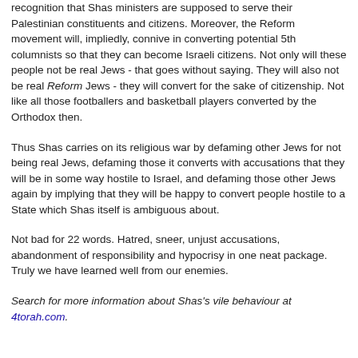recognition that Shas ministers are supposed to serve their Palestinian constituents and citizens. Moreover, the Reform movement will, impliedly, connive in converting potential 5th columnists so that they can become Israeli citizens. Not only will these people not be real Jews - that goes without saying. They will also not be real Reform Jews - they will convert for the sake of citizenship. Not like all those footballers and basketball players converted by the Orthodox then.
Thus Shas carries on its religious war by defaming other Jews for not being real Jews, defaming those it converts with accusations that they will be in some way hostile to Israel, and defaming those other Jews again by implying that they will be happy to convert people hostile to a State which Shas itself is ambiguous about.
Not bad for 22 words. Hatred, sneer, unjust accusations, abandonment of responsibility and hypocrisy in one neat package. Truly we have learned well from our enemies.
Search for more information about Shas's vile behaviour at 4torah.com.